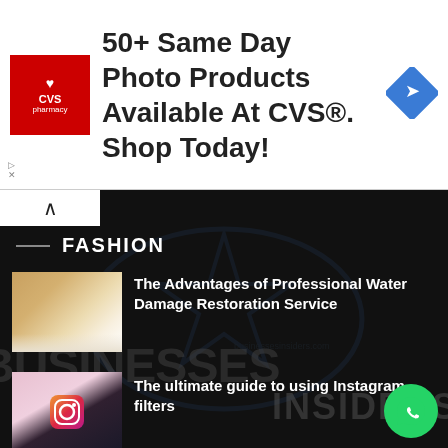[Figure (screenshot): CVS Pharmacy advertisement banner: CVS logo on left, text '50+ Same Day Photo Products Available At CVS®. Shop Today!', blue diamond navigation arrow on right]
FASHION
[Figure (photo): Water damaged ceiling corner with brown stains and moisture marks]
The Advantages of Professional Water Damage Restoration Service
[Figure (photo): Two smartphones with Instagram logo icons on pink background with keyboard]
The ultimate guide to using Instagram filters
[Figure (photo): Water drop illustration on teal/cyan background]
Ways You Can Conserve Water at Home